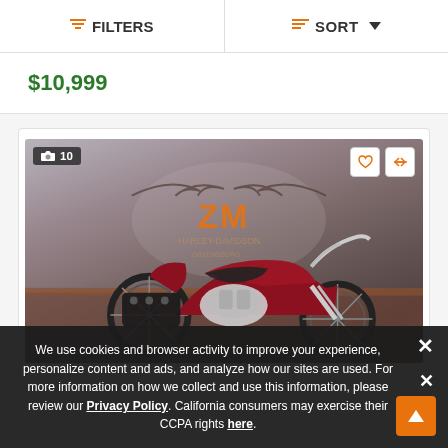FILTERS   SORT
$10,999
[Figure (photo): Red Harley-Davidson cruiser/softail motorcycle with chrome engine and saddlebags, photographed at ZM Greensburg dealership. A watermark of the ZM dealer logo (eagle wings with ZM letters) is visible in the background.]
We use cookies and browser activity to improve your experience, personalize content and ads, and analyze how our sites are used. For more information on how we collect and use this information, please review our Privacy Policy. California consumers may exercise their CCPA rights here.